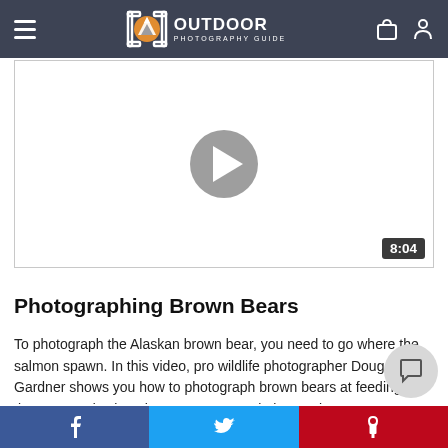Outdoor Photography Guide
[Figure (screenshot): Video player thumbnail showing a play button in the center and duration 8:04 in the bottom right corner]
Photographing Brown Bears
To photograph the Alaskan brown bear, you need to go where the salmon spawn. In this video, pro wildlife photographer Doug Gardner shows you how to photograph brown bears at feeding time. He wades into the remote mountain la... makes sure to advance no closer than 50 yards from the bears.